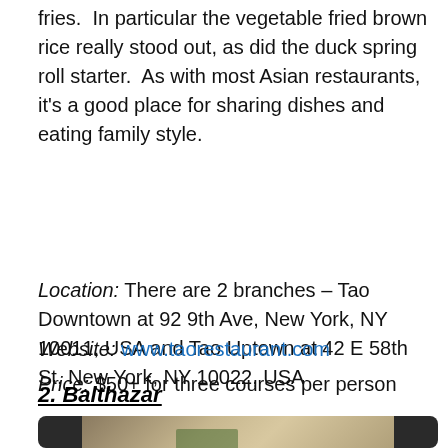fries.  In particular the vegetable fried brown rice really stood out, as did the duck spring roll starter.  As with most Asian restaurants, it's a good place for sharing dishes and eating family style.
Location: There are 2 branches – Tao Downtown at 92 9th Ave, New York, NY 10011, USA and Tao Uptown at 42 E 58th St, New York, NY 10022, USA
Website: www.taorestaurant.com
Price: $50+ for three courses per person
2. Balthazar
[Figure (photo): Restaurant table setting with white tablecloth, green plant decoration, and dinnerware, shown within a dark-bordered frame]